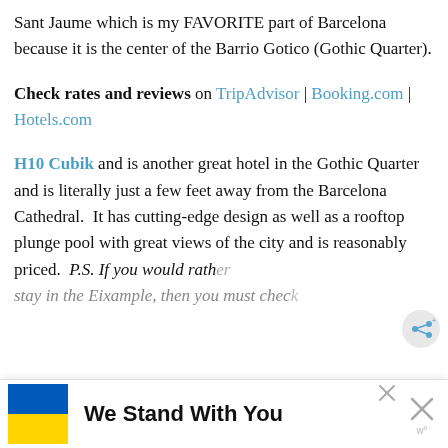Sant Jaume which is my FAVORITE part of Barcelona because it is the center of the Barrio Gotico (Gothic Quarter).
Check rates and reviews on TripAdvisor | Booking.com | Hotels.com
H10 Cubik and is another great hotel in the Gothic Quarter and is literally just a few feet away from the Barcelona Cathedral. It has cutting-edge design as well as a rooftop plunge pool with great views of the city and is reasonably priced. P.S. If you would rath... stay in the Eixample, then you must chec...
[Figure (other): Advertisement banner at the bottom: Ukraine flag (blue and yellow) with text 'We Stand With You' in bold, with a close (X) button on the right]